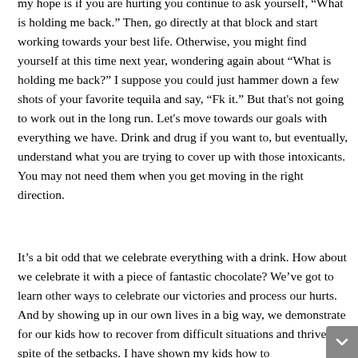my hope is if you are hurting you continue to ask yourself, “What is holding me back.” Then, go directly at that block and start working towards your best life. Otherwise, you might find yourself at this time next year, wondering again about “What is holding me back?” I suppose you could just hammer down a few shots of your favorite tequila and say, “Fk it.” But that's not going to work out in the long run. Let's move towards our goals with everything we have. Drink and drug if you want to, but eventually, understand what you are trying to cover up with those intoxicants. You may not need them when you get moving in the right direction.
It’s a bit odd that we celebrate everything with a drink. How about we celebrate it with a piece of fantastic chocolate? We’ve got to learn other ways to celebrate our victories and process our hurts. And by showing up in our own lives in a big way, we demonstrate for our kids how to recover from difficult situations and thrive in spite of the setbacks. I have shown my kids how to